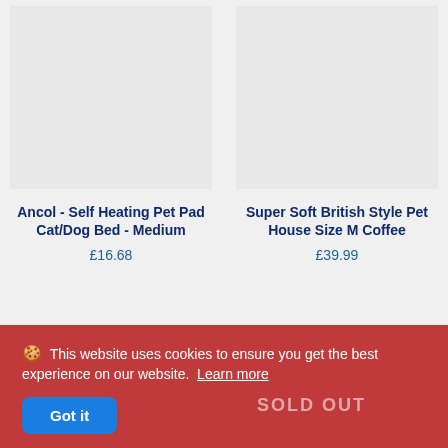[Figure (photo): Product image placeholder for Ancol Self Heating Pet Pad (light grey box)]
Ancol - Self Heating Pet Pad Cat/Dog Bed - Medium
£16.68
[Figure (photo): Product image placeholder for Super Soft British Style Pet House (light grey box)]
Super Soft British Style Pet House Size M Coffee
£39.99
🍪 This website uses cookies to ensure you get the best experience on our website.  Learn more
Got it
SOLD OUT